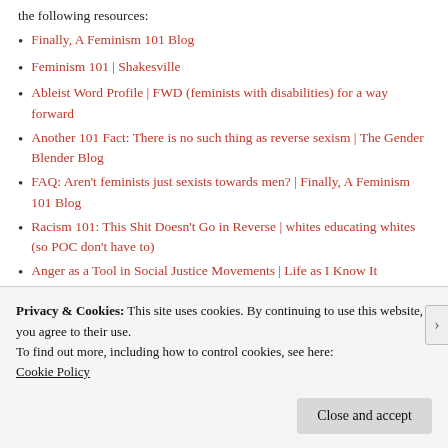the following resources:
Finally, A Feminism 101 Blog
Feminism 101 | Shakesville
Ableist Word Profile | FWD (feminists with disabilities) for a way forward
Another 101 Fact: There is no such thing as reverse sexism | The Gender Blender Blog
FAQ: Aren’t feminists just sexists towards men? | Finally, A Feminism 101 Blog
Racism 101: This Shit Doesn’t Go in Reverse | whites educating whites (so POC don’t have to)
Anger as a Tool in Social Justice Movements | Life as I Know It
Privacy & Cookies: This site uses cookies. By continuing to use this website, you agree to their use.
To find out more, including how to control cookies, see here: Cookie Policy
Close and accept